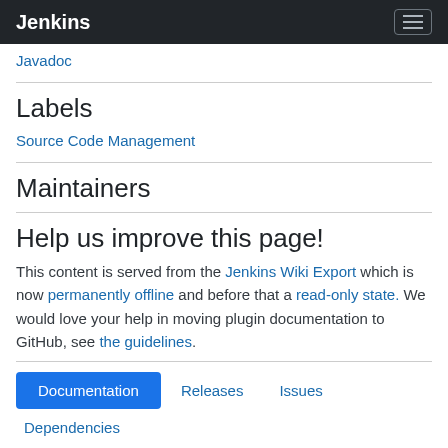Jenkins
Javadoc
Labels
Source Code Management
Maintainers
Help us improve this page!
This content is served from the Jenkins Wiki Export which is now permanently offline and before that a read-only state. We would love your help in moving plugin documentation to GitHub, see the guidelines.
Documentation
Releases
Issues
Dependencies